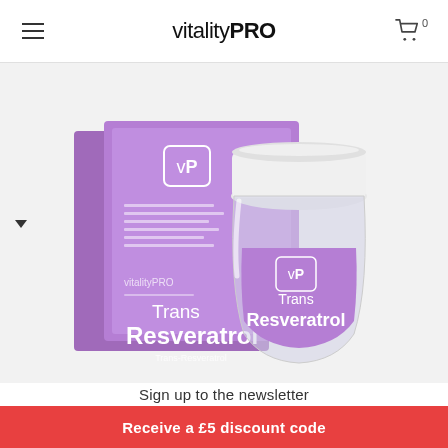vitalityPRO
[Figure (photo): VitalityPRO Trans Resveratrol supplement product photo showing purple box packaging and glass jar bottle with purple label on white/light grey background. Box and bottle both display 'vP' logo and 'Trans Resveratrol' text.]
Sign up to the newsletter
Your email address
Receive a £5 discount code